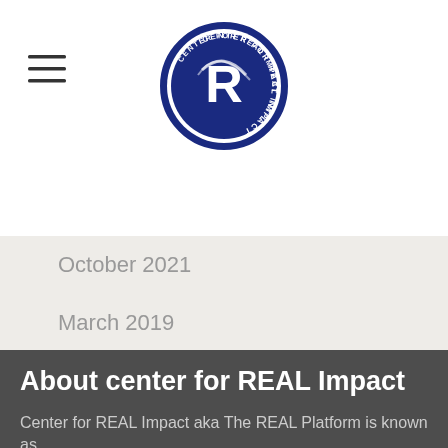[Figure (logo): Center for Real Impact Int'l circular logo with blue border, white R in center with swoosh design]
October 2021
March 2019
About center for REAL Impact
Center for REAL Impact aka The REAL Platform is known as